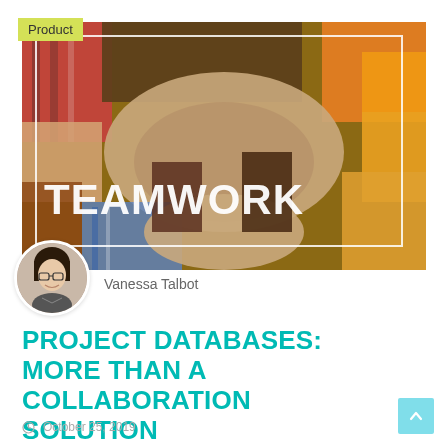Product
[Figure (photo): Aerial view of diverse hands coming together in a circle with text 'TEAMWORK' overlaid in white bold letters, with a white rectangle border outline over the photo]
Vanessa Talbot
PROJECT DATABASES: MORE THAN A COLLABORATION SOLUTION
October 25, 2019